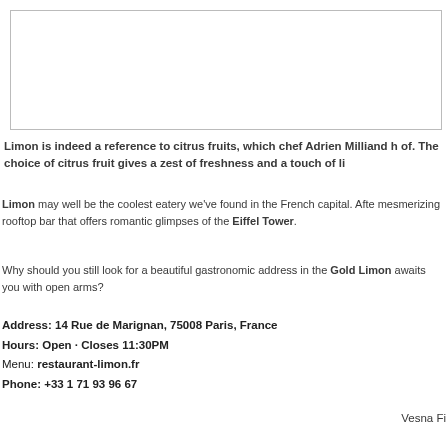[Figure (photo): Image placeholder box (white rectangle with border)]
Limon is indeed a reference to citrus fruits, which chef Adrien Milliand h of. The choice of citrus fruit gives a zest of freshness and a touch of li
Limon may well be the coolest eatery we've found in the French capital. Afte mesmerizing rooftop bar that offers romantic glimpses of the Eiffel Tower.
Why should you still look for a beautiful gastronomic address in the Gold Limon awaits you with open arms?
Address: 14 Rue de Marignan, 75008 Paris, France
Hours: Open · Closes 11:30PM
Menu: restaurant-limon.fr
Phone: +33 1 71 93 96 67
Vesna Fi